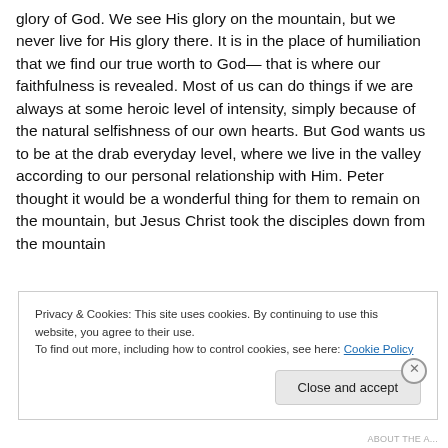glory of God. We see His glory on the mountain, but we never live for His glory there. It is in the place of humiliation that we find our true worth to God— that is where our faithfulness is revealed. Most of us can do things if we are always at some heroic level of intensity, simply because of the natural selfishness of our own hearts. But God wants us to be at the drab everyday level, where we live in the valley according to our personal relationship with Him. Peter thought it would be a wonderful thing for them to remain on the mountain, but Jesus Christ took the disciples down from the mountain
Privacy & Cookies: This site uses cookies. By continuing to use this website, you agree to their use.
To find out more, including how to control cookies, see here: Cookie Policy
Close and accept
ABOUT THE A...